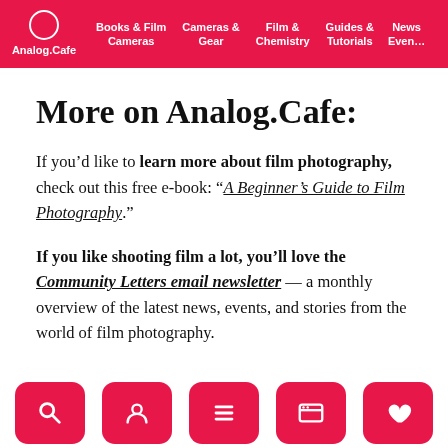Analog.Cafe | Books & Film Cameras | Cameras & Gear | Film & Chemistry | Guides & Tutorials | News Events
More on Analog.Cafe:
If you’d like to learn more about film photography, check out this free e-book: “A Beginner’s Guide to Film Photography.”
If you like shooting film a lot, you’ll love the Community Letters email newsletter — a monthly overview of the latest news, events, and stories from the world of film photography.
[Figure (other): Bottom navigation icon buttons in pink/red: search, profile, list, browser, heart]